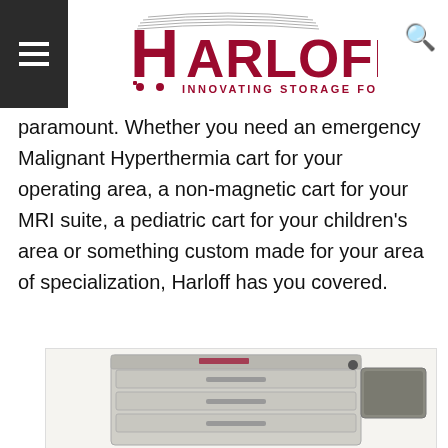Harloff – Innovating Storage For Care
paramount. Whether you need an emergency Malignant Hyperthermia cart for your operating area, a non-magnetic cart for your MRI suite, a pediatric cart for your children's area or something custom made for your area of specialization, Harloff has you covered.
[Figure (photo): Product photo of a Harloff medical storage cart with multiple drawers and a side tray attachment, shown from a front-angled view.]